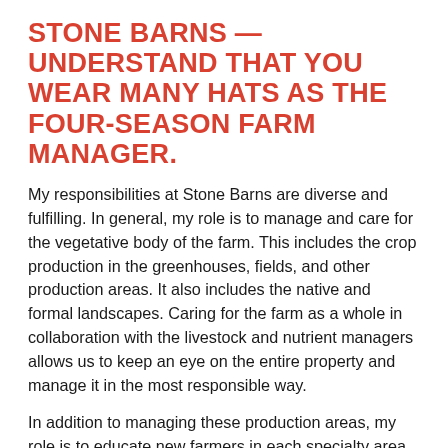STONE BARNS — UNDERSTAND THAT YOU WEAR MANY HATS AS THE FOUR-SEASON FARM MANAGER.
My responsibilities at Stone Barns are diverse and fulfilling. In general, my role is to manage and care for the vegetative body of the farm. This includes the crop production in the greenhouses, fields, and other production areas. It also includes the native and formal landscapes. Caring for the farm as a whole in collaboration with the livestock and nutrient managers allows us to keep an eye on the entire property and manage it in the most responsible way.
In addition to managing these production areas, my role is to educate new farmers in each specialty area — greenhouse, herbs and flowers, field crops and land care. It is with this team of apprentices that we follow through with our mission to grow high quality produce and share the intricacies and challenges of the farm with the public. We provide a wealth of content for all the education and programs at the